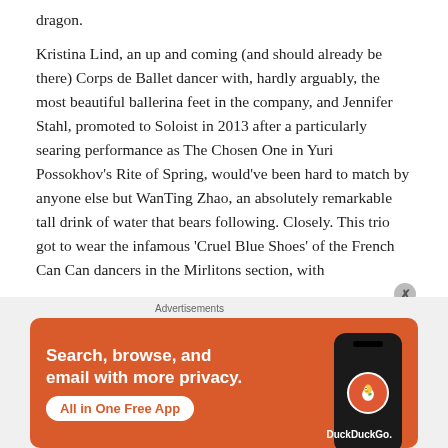dragon.

Kristina Lind, an up and coming (and should already be there) Corps de Ballet dancer with, hardly arguably, the most beautiful ballerina feet in the company, and Jennifer Stahl, promoted to Soloist in 2013 after a particularly searing performance as The Chosen One in Yuri Possokhov's Rite of Spring, would've been hard to match by anyone else but WanTing Zhao, an absolutely remarkable tall drink of water that bears following. Closely. This trio got to wear the infamous 'Cruel Blue Shoes' of the French Can Can dancers in the Mirlitons section, with
[Figure (screenshot): DuckDuckGo advertisement banner with orange background. Text reads 'Search, browse, and email with more privacy. All in One Free App' with a DuckDuckGo logo and phone mockup.]